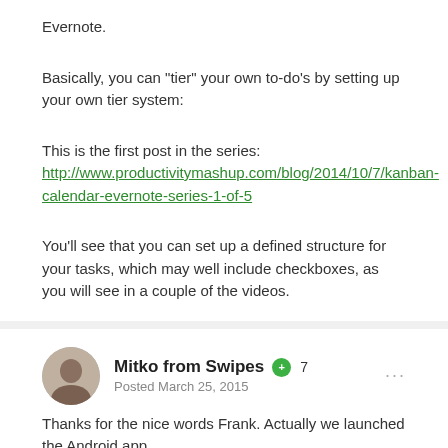Evernote.
Basically, you can "tier" your own to-do's by setting up your own tier system:
This is the first post in the series: http://www.productivitymashup.com/blog/2014/10/7/kanban-calendar-evernote-series-1-of-5
You'll see that you can set up a defined structure for your tasks, which may well include checkboxes, as you will see in a couple of the videos.
Mitko from Swipes
Posted March 25, 2015
Thanks for the nice words Frank. Actually we launched the Android app